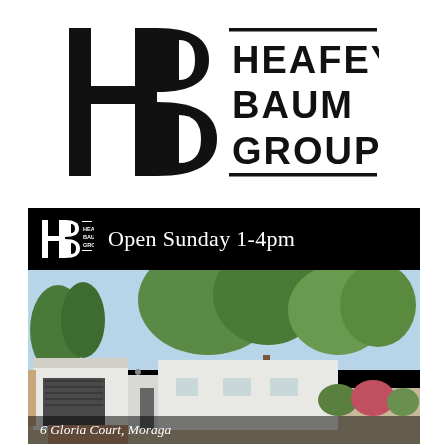[Figure (logo): Heafey Baum Group logo — large HB letterform with horizontal bars, text 'HEAFEY BAUM GROUP' to the right]
[Figure (photo): Real estate listing card with black header showing small HB logo and 'Open Sunday 1-4pm', photo of a white single-story ranch house with large trees, and partial address '6 Gloria Court, Moraga' at the bottom]
Open Sunday 1-4pm
6 Gloria Court, Moraga